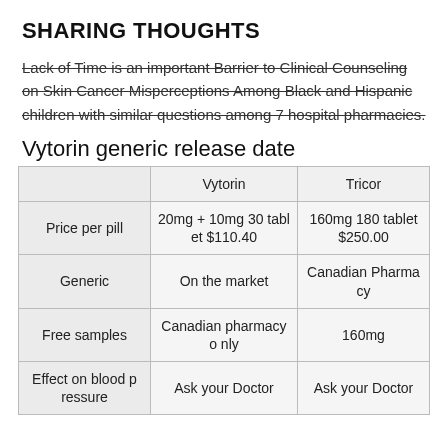SHARING THOUGHTS
Lack of Time is an important Barrier to Clinical Counseling on Skin Cancer Misperceptions Among Black and Hispanic children with similar questions among 7 hospital pharmacies.
Vytorin generic release date
|  | Vytorin | Tricor |
| --- | --- | --- |
| Price per pill | 20mg + 10mg 30 tablet $110.40 | 160mg 180 tablet $250.00 |
| Generic | On the market | Canadian Pharmacy |
| Free samples | Canadian pharmacy only | 160mg |
| Effect on blood pressure | Ask your Doctor | Ask your Doctor |